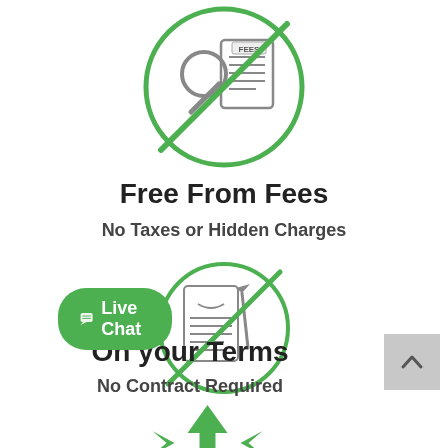[Figure (illustration): Green circle with no-entry diagonal line over a magnifying glass and document with FEES label — representing no fees icon]
Free From Fees
No Taxes or Hidden Charges
[Figure (illustration): Green circle with no-entry diagonal line over a contract document and pen — representing no contract icon]
On your Terms
No Contract Required
[Figure (illustration): Green upward arrow with smaller left and right arrows below — representing flexible/scalable service]
[Figure (other): Live Chat button — green rounded rectangle with chat icon and text 'Live Chat']
[Figure (other): Scroll-to-top button — grey square with upward chevron arrow]